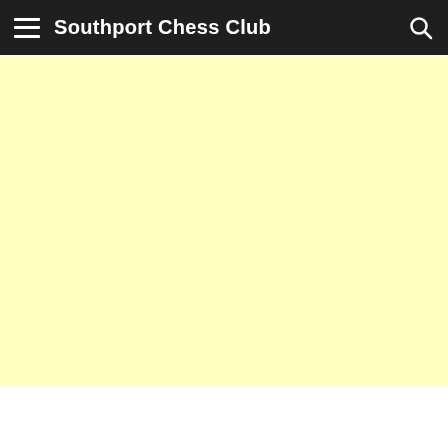Southport Chess Club
[Figure (other): Yellow background content area, empty]